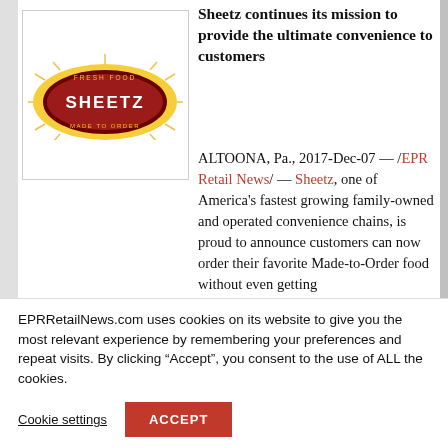[Figure (logo): Sheetz logo — red oval with 'SHEETZ' text in white, 'FRESH FOOD' above and 'MADE TO ORDER' below, with golden starburst accent]
Sheetz continues its mission to provide the ultimate convenience to customers
ALTOONA, Pa., 2017-Dec-07 — /EPR Retail News/ — Sheetz, one of America's fastest growing family-owned and operated convenience chains, is proud to announce customers can now order their favorite Made-to-Order food without even getting
EPRRetailNews.com uses cookies on its website to give you the most relevant experience by remembering your preferences and repeat visits. By clicking “Accept”, you consent to the use of ALL the cookies.
Cookie settings  ACCEPT